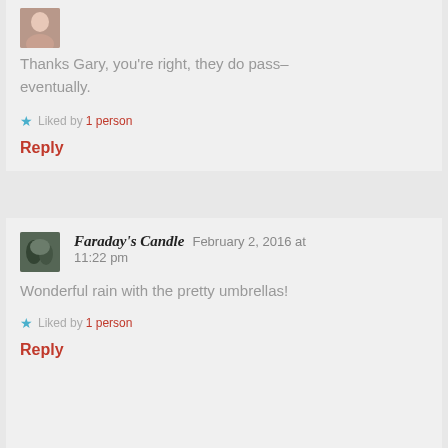Thanks Gary, you're right, they do pass–eventually.
★ Liked by 1 person
Reply
Faraday's Candle   February 2, 2016 at 11:22 pm
Wonderful rain with the pretty umbrellas!
★ Liked by 1 person
Reply